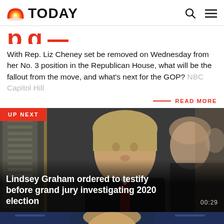TODAY
With Rep. Liz Cheney set be removed on Wednesday from her No. 3 position in the Republican House, what will be the fallout from the move, and what's next for the GOP? NBC Capitol Hill
READ MORE
[Figure (photo): UP NEXT badge over a photo of Sen. Lindsey Graham in a dark suit with a red tie, walking through a hallway. Caption: Lindsey Graham ordered to testify before grand jury investigating 2020 election. Duration: 00:29]
[Figure (photo): Partial bottom thumbnail strip showing top of a person's head against a blue background]